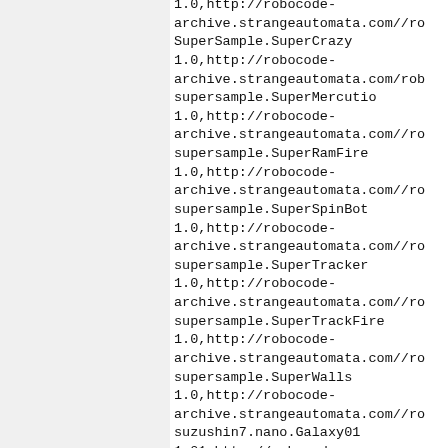1.0,http://robocode-archive.strangeautomata.com//ro
SuperSample.SuperCrazy
1.0,http://robocode-archive.strangeautomata.com/rob
supersample.SuperMercutio
1.0,http://robocode-archive.strangeautomata.com//ro
supersample.SuperRamFire
1.0,http://robocode-archive.strangeautomata.com//ro
supersample.SuperSpinBot
1.0,http://robocode-archive.strangeautomata.com//ro
supersample.SuperTracker
1.0,http://robocode-archive.strangeautomata.com//ro
supersample.SuperTrackFire
1.0,http://robocode-archive.strangeautomata.com//ro
supersample.SuperWalls
1.0,http://robocode-archive.strangeautomata.com//ro
suzushin7.nano.Galaxy01
1.01,http://robocode-